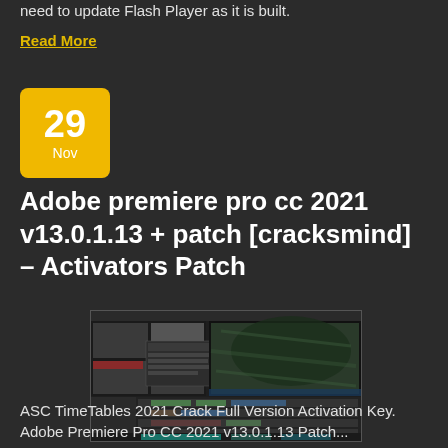need to update Flash Player as it is built.
Read More
[Figure (other): Date badge showing 29 Nov in gold/yellow color]
Adobe premiere pro cc 2021 v13.0.1.13 + patch [cracksmind] – Activators Patch
[Figure (screenshot): Screenshot of Adobe Premiere Pro CC 2021 interface showing video editing workspace with timeline and media panels]
ASC TimeTables 2021 Crack Full Version Activation Key. Adobe Premiere Pro CC 2021 v13.0.1.13 Patch...